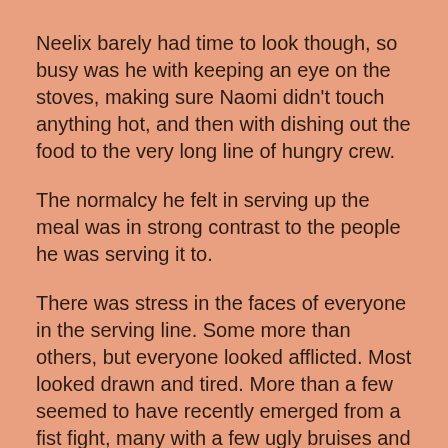Neelix barely had time to look though, so busy was he with keeping an eye on the stoves, making sure Naomi didn't touch anything hot, and then with dishing out the food to the very long line of hungry crew.
The normalcy he felt in serving up the meal was in strong contrast to the people he was serving it to.
There was stress in the faces of everyone in the serving line. Some more than others, but everyone looked afflicted. Most looked drawn and tired. More than a few seemed to have recently emerged from a fist fight, many with a few ugly bruises and others with still fresh scabs.
These were the mutiny victims who hadn't had severe enough injuries to stick around Sickbay or even go there in the first place. Neelix found the regenerator he kept in kitchen for when he inevitably burned himself and stuck it along side the Leola Root Stew on the tray of a customer who looked like he might have trouble chewing due to the massive fist-shaped bruise on the lower part of his face. He was